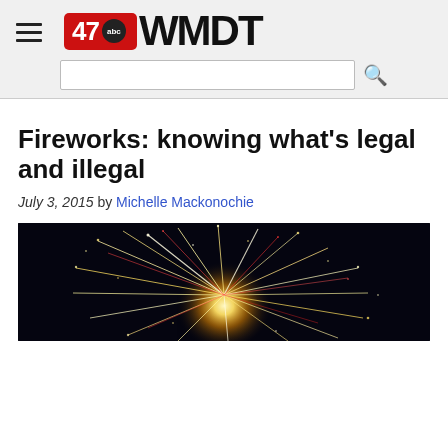47 abc WMDT
Fireworks: knowing what's legal and illegal
July 3, 2015 by Michelle Mackonochie
[Figure (photo): Fireworks explosion with bright sparks against a dark night sky]